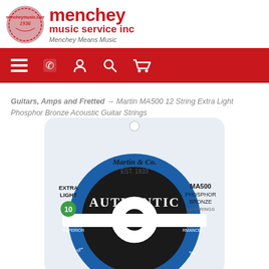[Figure (logo): Menchey Music Service Inc logo with circular badge and red text]
[Figure (screenshot): Red navigation bar with hamburger menu, phone, account, search, and cart icons]
Guitars, Amps and Fretted → Martin MA500 12 String Extra Light Phosphor Bronze Acoustic Guitar Strings
[Figure (photo): Martin MA500 12 String Extra Light Phosphor Bronze Acoustic Guitar Strings product packaging - white bag with blue and black circular label reading AUTHENTIC, Martin & Co EST. 1833, MA500, PHOSPHOR BRONZE, 12-STRINGS, EXTRA LIGHT, gauge 10]